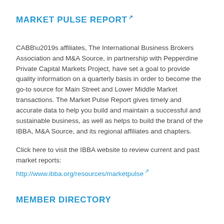MARKET PULSE REPORT
CABB’s affiliates, The International Business Brokers Association and M&A Source, in partnership with Pepperdine Private Capital Markets Project, have set a goal to provide quality information on a quarterly basis in order to become the go-to source for Main Street and Lower Middle Market transactions. The Market Pulse Report gives timely and accurate data to help you build and maintain a successful and sustainable business, as well as helps to build the brand of the IBBA, M&A Source, and its regional affiliates and chapters.
Click here to visit the IBBA website to review current and past market reports:
http://www.ibba.org/resources/marketpulse
MEMBER DIRECTORY